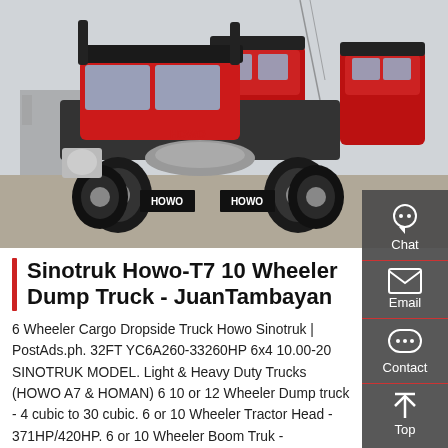[Figure (photo): Multiple red HOWO Sinotruk heavy-duty trucks parked in a yard, rear/side view showing large wheels and HOWO branding on mud flaps]
Sinotruk Howo-T7 10 Wheeler Dump Truck - JuanTambayan
6 Wheeler Cargo Dropside Truck Howo Sinotruk | PostAds.ph. 32FT YC6A260-33260HP 6x4 10.00-20 SINOTRUK MODEL. Light & Heavy Duty Trucks (HOWO A7 & HOMAN) 6 10 or 12 Wheeler Dump truck - 4 cubic to 30 cubic. 6 or 10 Wheeler Tractor Head - 371HP/420HP. 6 or 10 Wheeler Boom Truk -